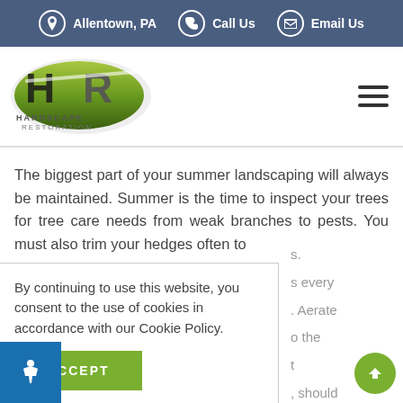Allentown, PA  |  Call Us  |  Email Us
[Figure (logo): Hardscape Restoration logo — stylized HR letters in green ellipse with company name below]
The biggest part of your summer landscaping will always be maintained. Summer is the time to inspect your trees for tree care needs from weak branches to pests. You must also trim your hedges often to
By continuing to use this website, you consent to the use of cookies in accordance with our Cookie Policy.
ACCEPT